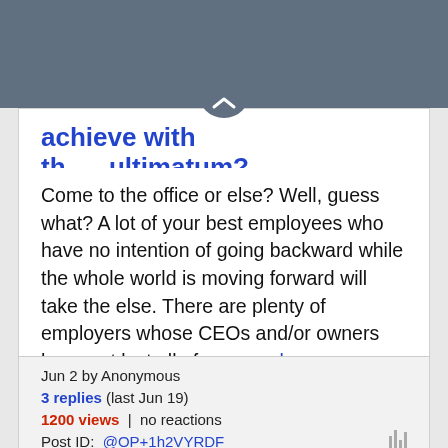achieve with th… ultimatum?
Come to the office or else? Well, guess what? A lot of your best employees who have no intention of going backward while the whole world is moving forward will take the else. There are plenty of employers whose CEOs and/or owners have not lost all of... — read more
Jun 2 by Anonymous
3 replies (last Jun 19)
1200 views | no reactions
Post ID: @OP+1h2VYRDF